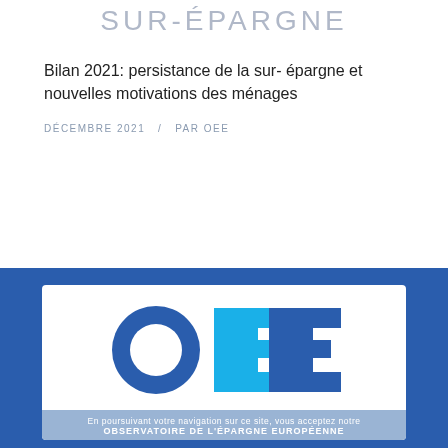SUR-EPARGNE
Bilan 2021: persistance de la sur- épargne et nouvelles motivations des ménages
DÉCEMBRE 2021   /   PAR OEE
[Figure (logo): OEE logo — large stylized letters O and E in blue and cyan, with text below: En poursuivant votre navigation sur ce site, vous acceptez notre / OBSERVATOIRE DE L'EPARGNE EUROPEENNE]